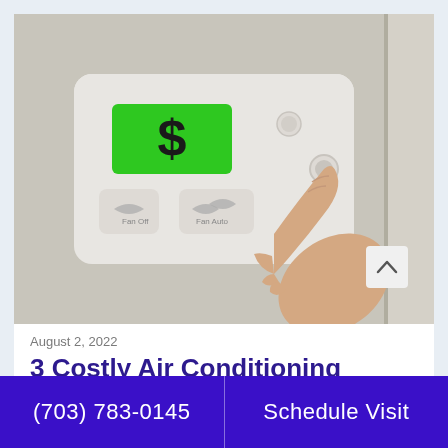[Figure (photo): A hand with index finger pressing a button on a white thermostat/HVAC controller mounted on a wall. The thermostat has a green backlit display showing a dollar sign symbol, with two timer/schedule buttons below it.]
August 2, 2022
3 Costly Air Conditioning
(703) 783-0145    Schedule Visit